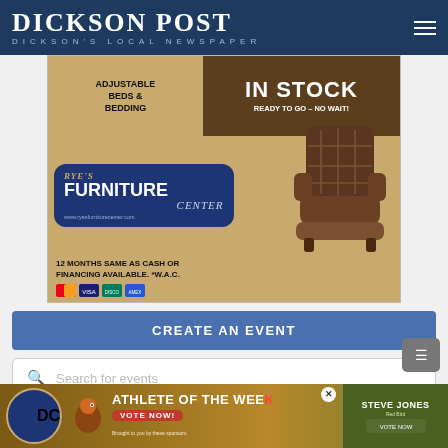DICKSON POST — DICKSON'S LOCAL NEWSPAPER
[Figure (photo): Advertisement for Rye's Furniture Center showing adjustable beds & bedding, in stock ready to go no wait, with a brown leather recliner chair. 12 months same as cash or financing available. W.A.C. www.ryesfurniturecenter.com]
CREATE AN EVENT
Search for events
[Figure (photo): Event thumbnail previews at the bottom of the page, with a SEP 1 badge visible]
[Figure (photo): Bottom advertisement banner: DC logo, Athlete of the Week, Vote Now!, brought to you by these sponsors, Steve Jones]